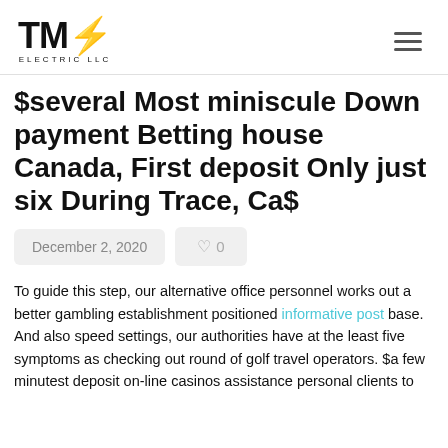TMJ ELECTRIC LLC
$several Most miniscule Down payment Betting house Canada, First deposit Only just six During Trace, Ca$
December 2, 2020   ♡ 0
To guide this step, our alternative office personnel works out a better gambling establishment positioned informative post base. And also speed settings, our authorities have at the least five symptoms as checking out round of golf travel operators. $a few minutest deposit on-line casinos assistance personal clients to